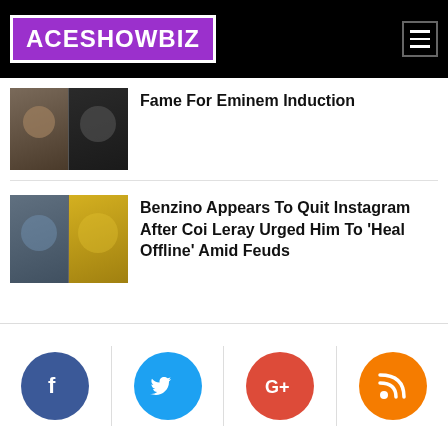ACESHOWBIZ
Fame For Eminem Induction
[Figure (photo): Two men side by side photo thumbnail]
Benzino Appears To Quit Instagram After Coi Leray Urged Him To 'Heal Offline' Amid Feuds
[Figure (photo): Benzino and Coi Leray side by side photo thumbnail]
[Figure (infographic): Social media share buttons: Facebook, Twitter, Google+, RSS]